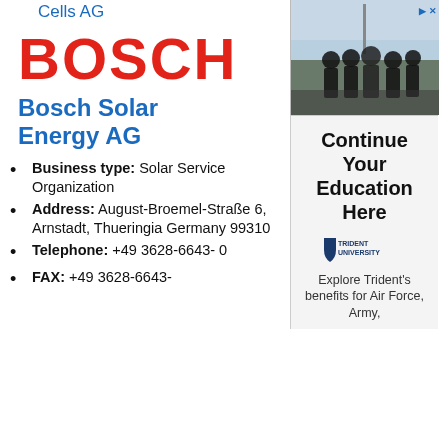Cells AG
BOSCH
Bosch Solar Energy AG
Business type: Solar Service Organization
Address: August-Broemel-Straße 6, Arnstadt, Thueringia Germany 99310
Telephone: +49 3628-6643- 0
FAX: +49 3628-6643-
[Figure (photo): Military personnel in uniform, photo used in advertisement]
Continue Your Education Here
[Figure (logo): Trident University logo]
Explore Trident's benefits for Air Force, Army,